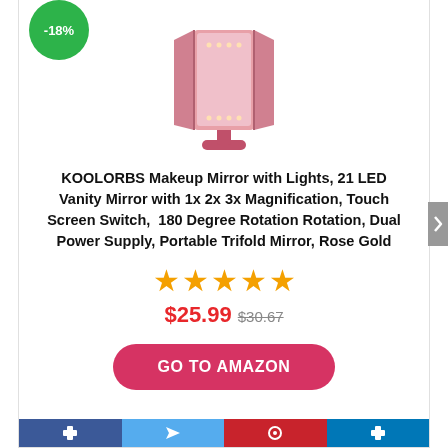[Figure (photo): Pink/rose gold tri-fold LED vanity mirror with -18% discount badge in green circle at top left]
KOOLORBS Makeup Mirror with Lights, 21 LED Vanity Mirror with 1x 2x 3x Magnification, Touch Screen Switch,  180 Degree Rotation Rotation, Dual Power Supply, Portable Trifold Mirror, Rose Gold
[Figure (other): 5 orange/gold star rating icons]
$25.99 $30.67
GO TO AMAZON